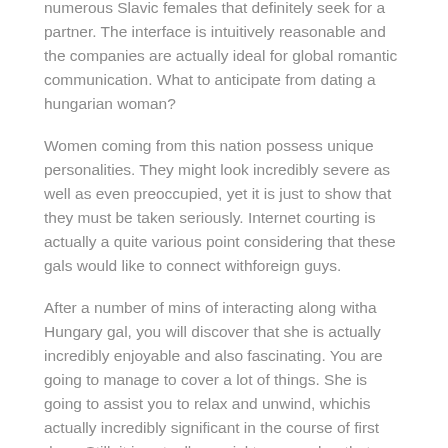numerous Slavic females that definitely seek for a partner. The interface is intuitively reasonable and the companies are actually ideal for global romantic communication. What to anticipate from dating a hungarian woman?
Women coming from this nation possess unique personalities. They might look incredibly severe as well as even preoccupied, yet it is just to show that they must be taken seriously. Internet courting is actually a quite various point considering that these gals would like to connect withforeign guys.
After a number of mins of interacting along witha Hungary gal, you will discover that she is actually incredibly enjoyable and also fascinating. You are going to manage to cover a lot of things. She is going to assist you to relax and unwind, whichis actually incredibly significant in the course of first days. Still, it is actually crucial to remember that Hungarian women are very thorough, so it would be very rude to make your day delay. Keep in mind: women coming from Hungary would never be late, and they will certainly never court a man who carries out certainly not respect them.
Where to locate Hungarian mail order bride-to-bes? There are actually 2 means to locate a day from Hungary. The first option is